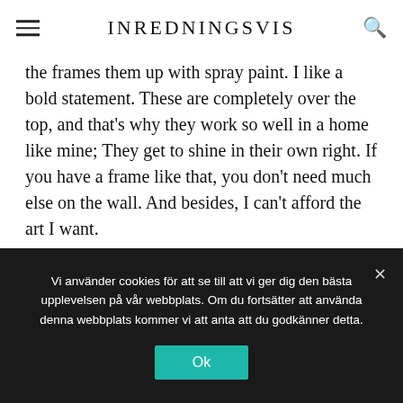INREDNINGSVIS
the frames them up with spray paint. I like a bold statement. These are completely over the top, and that's why they work so well in a home like mine; They get to shine in their own right. If you have a frame like that, you don't need much else on the wall. And besides, I can't afford the art I want.
You have written a book about interiors! Tell us a little about that?
Vi använder cookies för att se till att vi ger dig den bästa upplevelsen på vår webbplats. Om du fortsätter att använda denna webbplats kommer vi att anta att du godkänner detta.